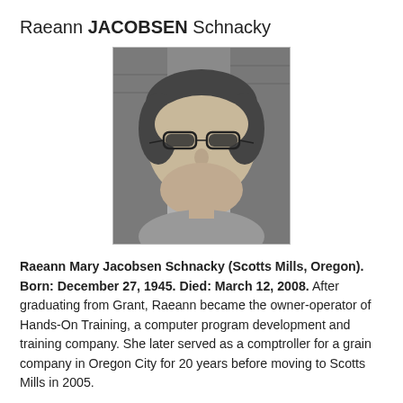Raeann JACOBSEN Schnacky
[Figure (photo): Black and white portrait photo of Raeann Jacobsen Schnacky, an older woman wearing glasses, smiling slightly, with bookshelves visible in the background.]
Raeann Mary Jacobsen Schnacky (Scotts Mills, Oregon).  Born: December 27, 1945.  Died: March 12, 2008.  After graduating from Grant, Raeann became the owner-operator of Hands-On Training, a computer program development and training company.  She later served as a comptroller for a grain company in Oregon City for 20 years before moving to Scotts Mills in 2005.